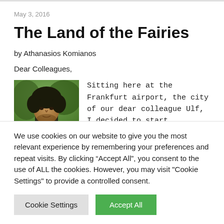May 3, 2016
The Land of the Fairies
by Athanasios Komianos
Dear Colleagues,
[Figure (photo): Photo of a man with dark curly hair outdoors]
Sitting here at the Frankfurt airport, the city of our dear colleague Ulf, I decided to start
We use cookies on our website to give you the most relevant experience by remembering your preferences and repeat visits. By clicking “Accept All”, you consent to the use of ALL the cookies. However, you may visit "Cookie Settings" to provide a controlled consent.